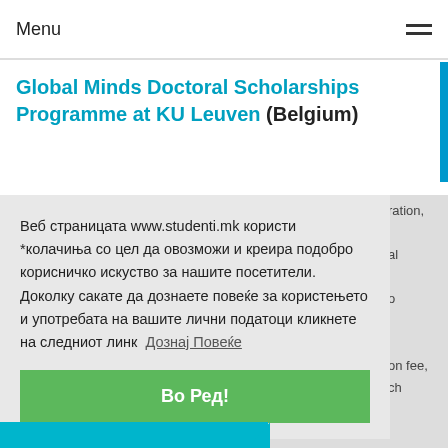Menu
Global Minds Doctoral Scholarships Programme at KU Leuven (Belgium)
Веб страницата www.studenti.mk користи *колачиња со цел да овозможи и креира подобро корисничко искуство за нашите посетители. Доколку сакате да дознаете повеќе за користењето и употребата на вашите лични податоци кликнете на следниот линк  Дознај Повеќе
Во Ред!